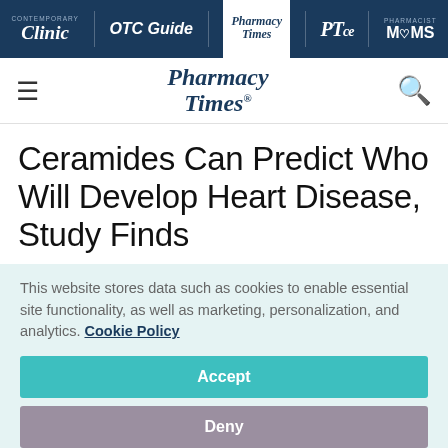Contemporary Clinic | OTC Guide | Pharmacy Times | PTce | Pharmacist Moms
[Figure (logo): Pharmacy Times website header with hamburger menu icon and search icon]
Ceramides Can Predict Who Will Develop Heart Disease, Study Finds
This website stores data such as cookies to enable essential site functionality, as well as marketing, personalization, and analytics. Cookie Policy
Accept
Deny